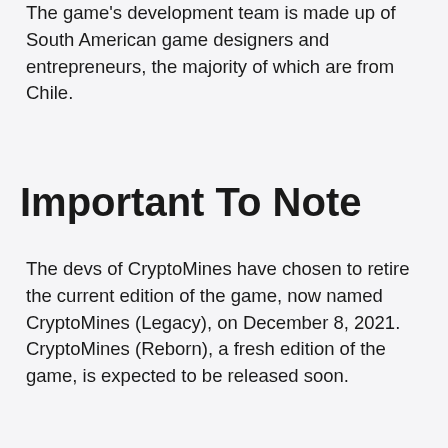The game's development team is made up of South American game designers and entrepreneurs, the majority of which are from Chile.
Important To Note
The devs of CryptoMines have chosen to retire the current edition of the game, now named CryptoMines (Legacy), on December 8, 2021. CryptoMines (Reborn), a fresh edition of the game, is expected to be released soon.